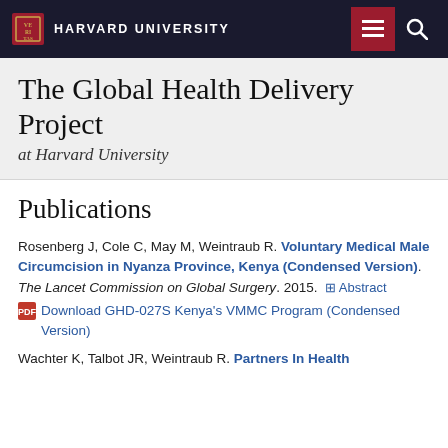HARVARD UNIVERSITY
The Global Health Delivery Project
at Harvard University
Publications
Rosenberg J, Cole C, May M, Weintraub R. Voluntary Medical Male Circumcision in Nyanza Province, Kenya (Condensed Version). The Lancet Commission on Global Surgery. 2015. + Abstract
 Download GHD-027S Kenya's VMMC Program (Condensed Version)
Wachter K, Talbot JR, Weintraub R. Partners In Health